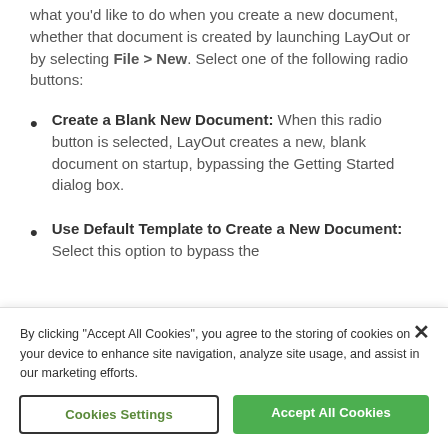what you'd like to do when you create a new document, whether that document is created by launching LayOut or by selecting File > New. Select one of the following radio buttons:
Create a Blank New Document: When this radio button is selected, LayOut creates a new, blank document on startup, bypassing the Getting Started dialog box.
Use Default Template to Create a New Document: Select this option to bypass the
By clicking "Accept All Cookies", you agree to the storing of cookies on your device to enhance site navigation, analyze site usage, and assist in our marketing efforts.